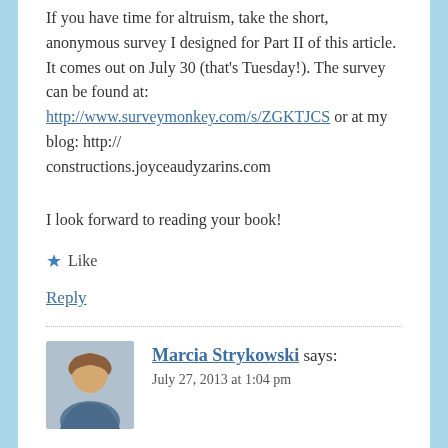If you have time for altruism, take the short, anonymous survey I designed for Part II of this article. It comes out on July 30 (that's Tuesday!). The survey can be found at: http://www.surveymonkey.com/s/ZGKTJCS or at my blog: http://constructions.joyceaudyzarins.com
I look forward to reading your book!
★ Like
Reply
Marcia Strykowski says:
July 27, 2013 at 1:04 pm